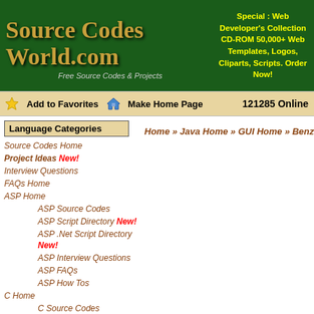Source Codes World.com — Free Source Codes & Projects
Special : Web Developer's Collection CD-ROM 50,000+ Web Templates, Logos, Cliparts, Scripts. Order Now!
Add to Favorites  Make Home Page  121285 Online
Language Categories
Source Codes Home
Project Ideas New!
Interview Questions
FAQs Home
ASP Home
ASP Source Codes
ASP Script Directory New!
ASP .Net Script Directory New!
ASP Interview Questions
ASP FAQs
ASP How Tos
C Home
C Source Codes
C Script Directory New!
C Interview Questions
C FAQs
C How Tos
C++ Home
C++ Source Codes
C++ Script Directory New!
C++ Interview Questions
C++ FAQs
C++ How Tos
Java Home
Home » Java Home » GUI Home » Benzene Reactions Editor